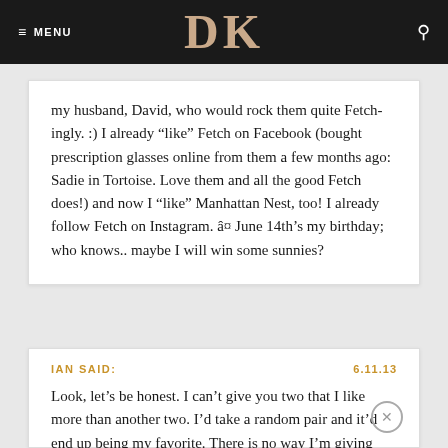MENU | DK | [search]
my husband, David, who would rock them quite Fetchingly. :) I already “like” Fetch on Facebook (bought prescription glasses online from them a few months ago: Sadie in Tortoise. Love them and all the good Fetch does!) and now I “like” Manhattan Nest, too! I already follow Fetch on Instagram. â¤ June 14th’s my birthday; who knows.. maybe I will win some sunnies?
IAN SAID: | 6.11.13 | Look, let’s be honest. I can’t give you two that I like more than another two. I’d take a random pair and it’d end up being my favorite. There is no way I’m giving